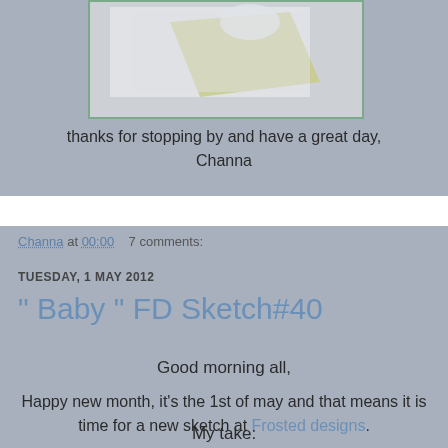[Figure (photo): Partial photo of a craft card with white and yellow/green paper elements, shown from above, with green border frame]
thanks for stopping by and have a great day,
Channa
Channa at 00:00   7 comments:
TUESDAY, 1 MAY 2012
" Baby " FD Sketch#40
Good morning all,
Happy new month, it's the 1st of may and that means it is time for a new sketch at Frosted designs.
My take: